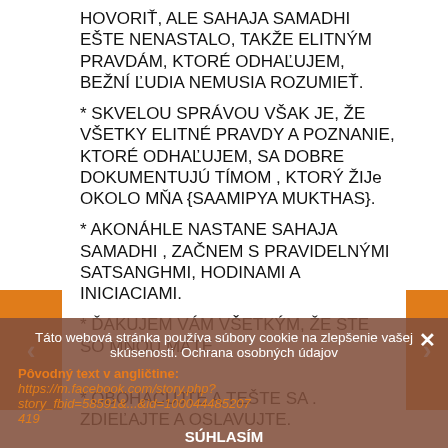HOVORIŤ, ALE SAHAJA SAMADHI EŠTE NENASTALO, TAKŽE ELITNÝM PRAVDÁM, KTORÉ ODHAĽUJEM, BEŽNÍ ĽUDIA NEMUSIA ROZUMIEŤ.
* SKVELOU SPRÁVOU VŠAK JE, ŽE VŠETKY ELITNÉ PRAVDY A POZNANIE, KTORÉ ODHAĽUJEM, SA DOBRE DOKUMENTUJÚ TÍMOM , KTORÝ ŽIJe OKOLO MŇA {SAAMIPYA MUKTHAS}.
* AKONÁHLE NASTANE SAHAJA SAMADHI , ZAČNEM S PRAVIDELNÝMI SATSANGHMI, HODINAMI A INICIACIAMI.
* ĎAKUJEM VÁM VŠETKÝM, ŽE STE SO MNOU MÁTE .
* OBOHACUJTE A TEŠTE SA . ZDIEĽAJTE A OSLAVUJTE.
Táto webová stránka používa súbory cookie na zlepšenie vašej skúsenosti. Ochrana osobných údajov
Pôvodný text v angličtine: https://m.facebook.com/story.php?story_fbid=58591...&id=100044485207419
SÚHLASÍM